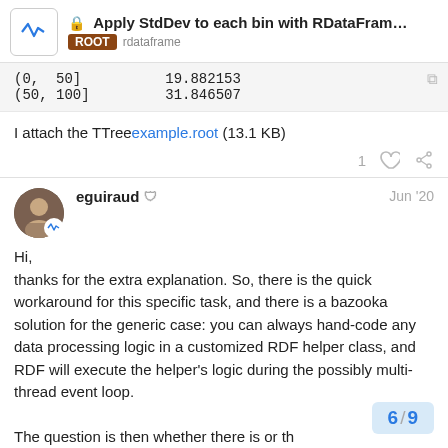Apply StdDev to each bin with RDataFrame (gr... | ROOT rdataframe
(0, 50]    19.882153
(50, 100]   31.846507
I attach the TTree example.root (13.1 KB)
eguiraud  Jun '20
Hi,
thanks for the extra explanation. So, there is the quick workaround for this specific task, and there is a bazooka solution for the generic case: you can always hand-code any data processing logic in a customized RDF helper class, and RDF will execute the helper's logic during the possibly multi-thread event loop.

The question is then whether there is or th